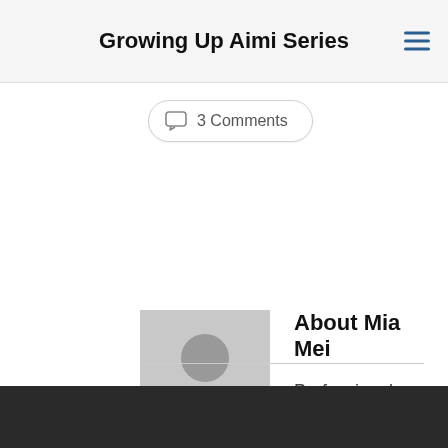Growing Up Aimi Series
3 Comments
About Mia Mei
Professional Blogger, social media marketer, professor of marketing, Christian and dad.